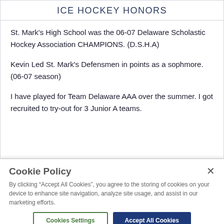ICE HOCKEY HONORS
St. Mark's High School was the 06-07 Delaware Scholastic Hockey Association CHAMPIONS. (D.S.H.A)
Kevin Led St. Mark's Defensmen in points as a sophmore. (06-07 season)
I have played for Team Delaware AAA over the summer. I got recruited to try-out for 3 Junior A teams.
Cookie Policy
By clicking "Accept All Cookies", you agree to the storing of cookies on your device to enhance site navigation, analyze site usage, and assist in our marketing efforts.
Cookies Settings
Accept All Cookies